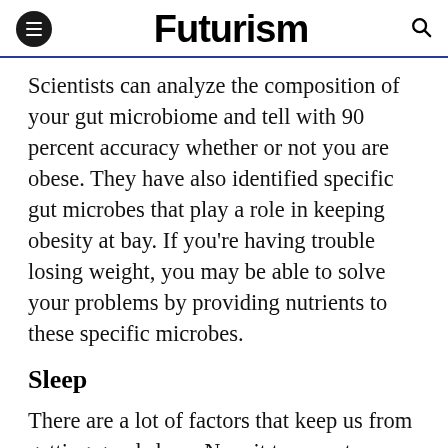Futurism
Scientists can analyze the composition of your gut microbiome and tell with 90 percent accuracy whether or not you are obese. They have also identified specific gut microbes that play a role in keeping obesity at bay. If you're having trouble losing weight, you may be able to solve your problems by providing nutrients to these specific microbes.
Sleep
There are a lot of factors that keep us from getting good sleep. Now it turns out your gut could be the culprit. Scientists have found that